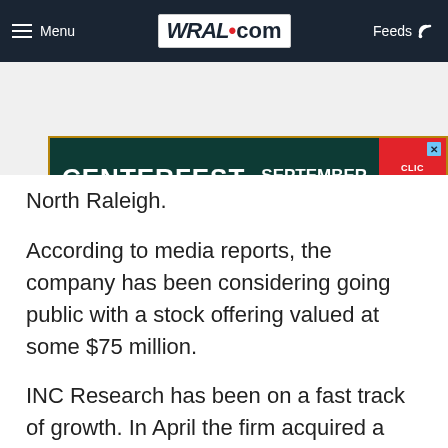Menu | WRAL.com | Feeds
[Figure (other): CenterFest Arts Festival advertisement banner: CENTERFEST SEPTEMBER 16 & 17 ARTS·FESTIVAL CLICK HERE TO LEARN MORE]
North Raleigh.
According to media reports, the company has been considering going public with a stock offering valued at some $75 million.
INC Research has been on a fast track of growth. In April the firm acquired a CRO based in Pennsylvania. The company also recently opened an office in Switzerland and